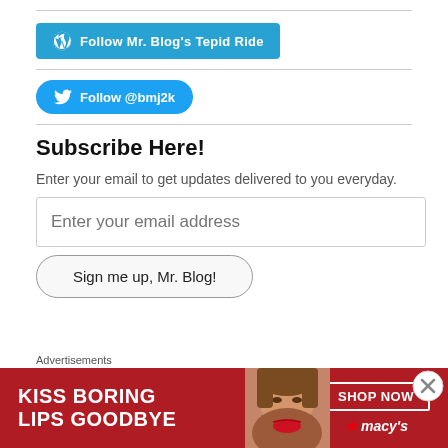[Figure (other): WordPress Follow button: 'Follow Mr. Blog's Tepid Ride' with WordPress icon, teal/blue background]
[Figure (other): Twitter Follow button: 'Follow @bmj2k' with Twitter bird icon, blue background, rounded pill shape]
Subscribe Here!
Enter your email to get updates delivered to you everyday.
[Figure (other): Email input field placeholder: 'Enter your email address']
[Figure (other): Button: 'Sign me up, Mr. Blog!' with rounded pill border]
Advertisements
[Figure (other): Macy's advertisement banner: 'KISS BORING LIPS GOODBYE' with SHOP NOW button and Macy's star logo, red background with woman's face]